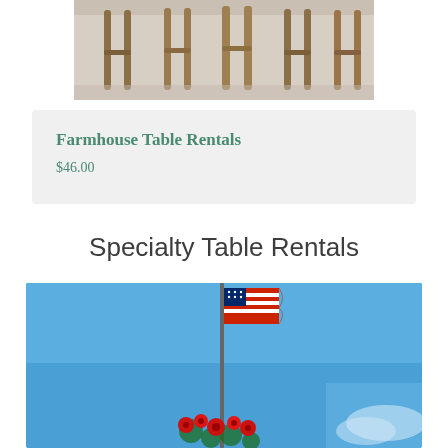[Figure (photo): Wooden dining chairs legs on a light concrete floor, viewed from below a dining table]
Farmhouse Table Rentals
$46.00
Specialty Table Rentals
[Figure (photo): American flag on a pole against a bright blue sky, with red roses/flowers visible at the base]